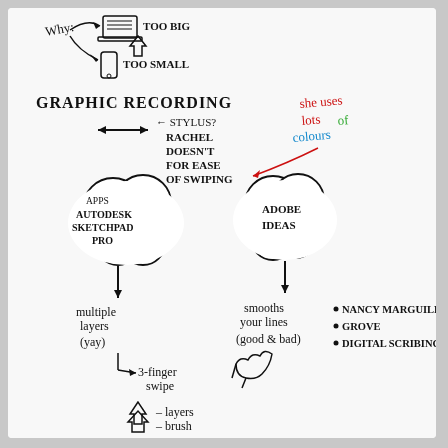[Figure (illustration): Hand-drawn whiteboard notes about graphic recording and apps. Shows: 'Why?' with arrows pointing to a laptop (too big) and phone (too small). 'GRAPHIC RECORDING' heading. Arrow pointing to 'stylus? RACHEL DOESN'T FOR EASE OF SWIPING'. Red annotation 'she uses lots of colours'. Two cloud shapes labeled 'APPS AUTODESK SKETCHPAD PRO' and 'ADOBE IDEAS'. Arrows from clouds pointing down to 'multiple layers (yay)' and 'smooths your lines (good & bad)'. Sub-note '3-finger swipe' with hand drawing. Up arrow '-layers', down arrow '-brush'. Bullet list: NANCY MARGUILES, GROVE, DIGITAL SCRIBING.]